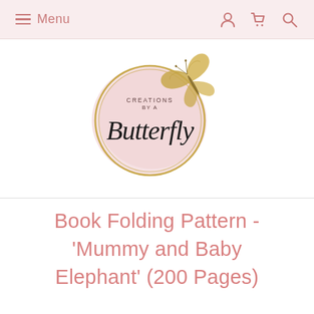Menu
[Figure (logo): Creations by a Butterfly logo — a pink watercolour circle with gold rings and a golden butterfly, with script text reading 'Creations by a Butterfly']
Book Folding Pattern - 'Mummy and Baby Elephant' (200 Pages)